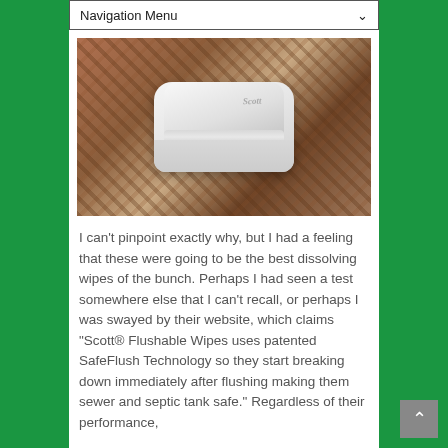Navigation Menu
[Figure (photo): A white Scott brand flushable wipes container/dispenser sitting on a patterned carpet or rug background. The container is rectangular with rounded corners and a flip-top lid.]
I can't pinpoint exactly why, but I had a feeling that these were going to be the best dissolving wipes of the bunch. Perhaps I had seen a test somewhere else that I can't recall, or perhaps I was swayed by their website, which claims "Scott® Flushable Wipes uses patented SafeFlush Technology so they start breaking down immediately after flushing making them sewer and septic tank safe." Regardless of their performance,